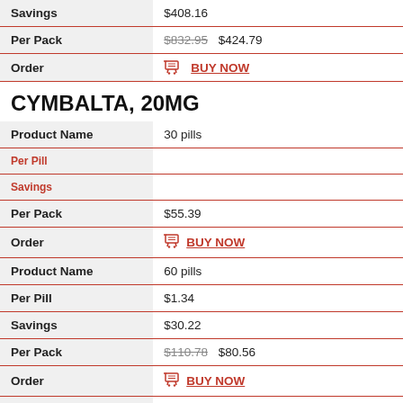| Field | Value |
| --- | --- |
| Savings | $408.16 |
| Per Pack | $832.95  $424.79 |
| Order | BUY NOW |
CYMBALTA, 20MG
| Field | Value |
| --- | --- |
| Product Name | 30 pills |
| Per Pill |  |
| Savings |  |
| Per Pack | $55.39 |
| Order | BUY NOW |
| Field | Value |
| --- | --- |
| Product Name | 60 pills |
| Per Pill | $1.34 |
| Savings | $30.22 |
| Per Pack | $110.78  $80.56 |
| Order | BUY NOW |
| Field | Value |
| --- | --- |
| Product Name | 90 pills |